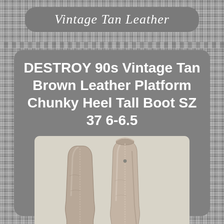Vintage Tan Leather
DESTROY 90s Vintage Tan Brown Leather Platform Chunky Heel Tall Boot SZ 37 6-6.5
[Figure (photo): Two tall leather boots standing side by side, shown from approximately knee height. The boots are tan/brown leather with visible wear and aging, showing chunky platform heel style. The taller boot is on the right. Background is white/light gray.]